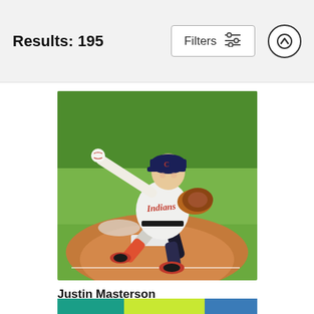Results: 195
[Figure (photo): Baseball pitcher Justin Masterson in Cleveland Indians uniform mid-pitch on mound, wearing white uniform with red script, navy cap, and brown glove, releasing baseball]
Justin Masterson
Jason Miller
$9.62
[Figure (photo): Bottom strip showing partial next image with teal, yellow-green, and blue color bands]